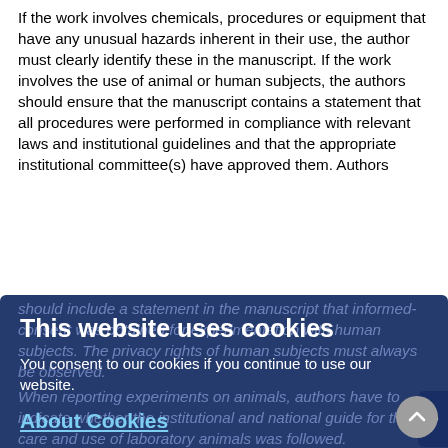If the work involves chemicals, procedures or equipment that have any unusual hazards inherent in their use, the author must clearly identify these in the manuscript. If the work involves the use of animal or human subjects, the authors should ensure that the manuscript contains a statement that all procedures were performed in compliance with relevant laws and institutional guidelines and that the appropriate institutional committee(s) have approved them. Authors should include a statement in the manuscript that informed-consent was obtained for experimentation with human subjects. The privacy rights of human subjects must always be observed.
When reporting experiments on animals, authors have to indicate whether the institutional and national guide for the care and use of laboratory animals was followed.
Research involving human embryos, gametes, and stem
Manuscripts that report experiments involving the use of human embryos and gametes, human embryonic stem cells and related materials, and clinical applications of stem cells
[Figure (screenshot): Cookie consent overlay dialog with dark blue background containing: title 'This website uses cookies', body text 'You consent to our cookies if you continue to use our website.', link 'About Cookies', and an OK button. A navigation arrow appears on the right side.]
must include confirmation that all experiments were performed in accordance with relevant guidelines and regulations (See also Research involving human participants and/or animals)
The manuscript should include an ethics statement identifying the institutional and/or national research ethics committee